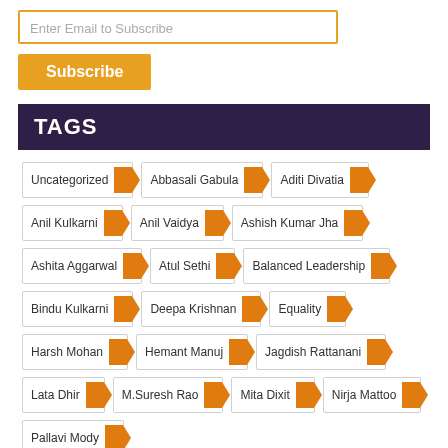Enter Email to Subscribe
Subscribe
TAGS
Uncategorized
Abbasali Gabula
Aditi Divatia
Anil Kulkarni
Anil Vaidya
Ashish Kumar Jha
Ashita Aggarwal
Atul Sethi
Balanced Leadership
Bindu Kulkarni
Deepa Krishnan
Equality
Harsh Mohan
Hemant Manuj
Jagdish Rattanani
Lata Dhir
M.Suresh Rao
Mita Dixit
Nirja Mattoo
Pallavi Mody